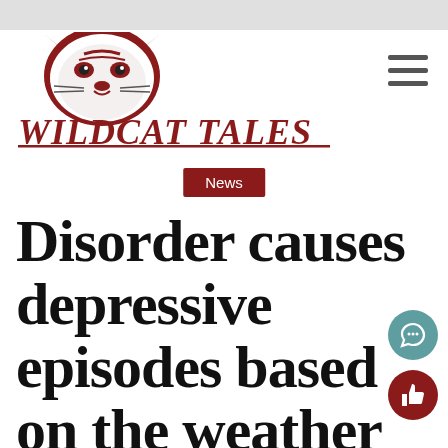[Figure (logo): Wildcat Tales newspaper logo with a wildcat mascot head above stylized text reading WILDCAT TALES in dark red/maroon]
News
Disorder causes depressive episodes based on the weather